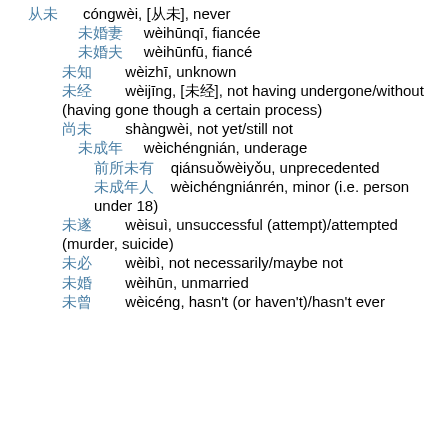从未  cóngwèi, [从未], never
未婚妻  wèihūnqī, fiancée
未婚夫  wèihūnfū, fiancé
未知  wèizhī, unknown
未经  wèijīng, [未经], not having undergone/without (having gone though a certain process)
尚未  shàngwèi, not yet/still not
未成年  wèichéngnián, underage
前所未有  qiánsuǒwèiyǒu, unprecedented
未成年人  wèichéngniánrén, minor (i.e. person under 18)
未遂  wèisuì, unsuccessful (attempt)/attempted (murder, suicide)
未必  wèibì, not necessarily/maybe not
未婚  wèihūn, unmarried
未曾  wèicéng, hasn't (or haven't)/hasn't ever